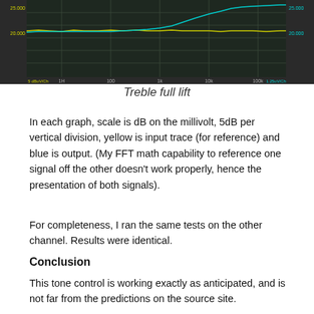[Figure (continuous-plot): FFT spectrum analyzer screenshot showing treble full lift measurement. Dark background with grid lines. Yellow trace shows input signal reference, cyan/blue trace shows output signal. Y-axis labeled in dB (millivolt), 5dB per division, with values around 20.000 and 25.000. X-axis shows frequency from 1Hz to 100kHz range. Left y-axis: 5dBuV/Ch, right y-axis: 1.25uV/Ch markings visible.]
Treble full lift
In each graph, scale is dB on the millivolt, 5dB per vertical division, yellow is input trace (for reference) and blue is output. (My FFT math capability to reference one signal off the other doesn’t work properly, hence the presentation of both signals).
For completeness, I ran the same tests on the other channel. Results were identical.
Conclusion
This tone control is working exactly as anticipated, and is not far from the predictions on the source site.